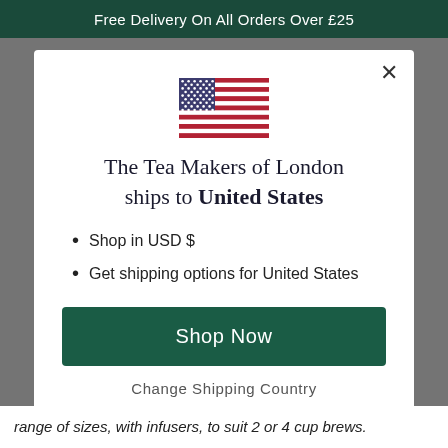Free Delivery On All Orders Over £25
[Figure (illustration): US flag icon]
The Tea Makers of London ships to United States
Shop in USD $
Get shipping options for United States
Shop Now
Change Shipping Country
range of sizes, with infusers, to suit 2 or 4 cup brews.